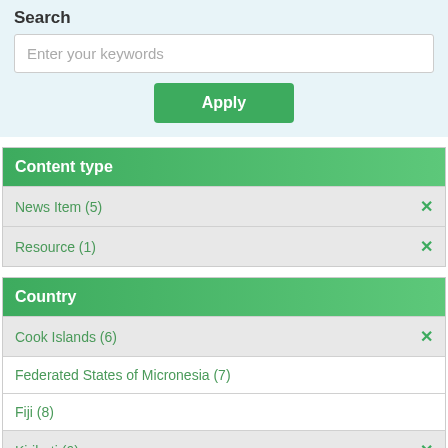Search
Enter your keywords
Apply
Content type
News Item (5) ×
Resource (1) ×
Country
Cook Islands (6) ×
Federated States of Micronesia (7)
Fiji (8)
Kiribati (6) ×